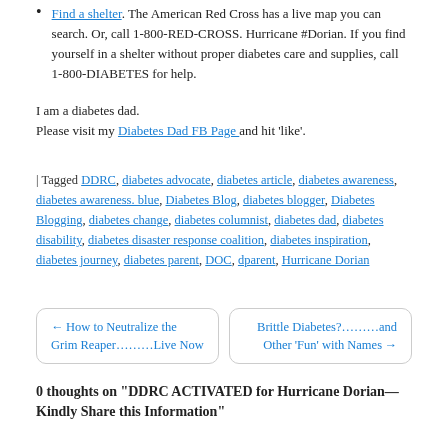Find a shelter. The American Red Cross has a live map you can search. Or, call 1-800-RED-CROSS. Hurricane #Dorian. If you find yourself in a shelter without proper diabetes care and supplies, call 1-800-DIABETES for help.
I am a diabetes dad.
Please visit my Diabetes Dad FB Page and hit ‘like’.
| Tagged DDRC, diabetes advocate, diabetes article, diabetes awareness, diabetes awareness. blue, Diabetes Blog, diabetes blogger, Diabetes Blogging, diabetes change, diabetes columnist, diabetes dad, diabetes disability, diabetes disaster response coalition, diabetes inspiration, diabetes journey, diabetes parent, DOC, dparent, Hurricane Dorian
← How to Neutralize the Grim Reaper……….Live Now
Brittle Diabetes?………and Other ‘Fun’ with Names →
0 thoughts on “DDRC ACTIVATED for Hurricane Dorian—Kindly Share this Information”